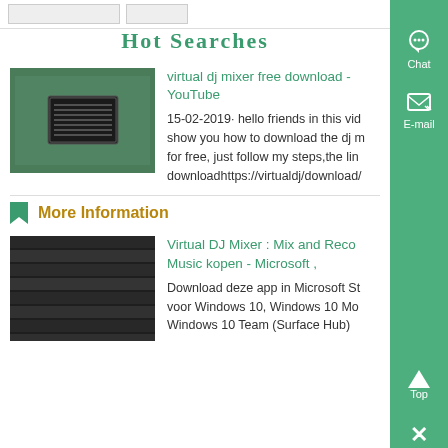Hot Searches
[Figure (photo): Green surface with metal plate/label tag mounted on it]
virtual dj mixer free download - YouTube
15-02-2019· hello friends in this vid show you how to download the dj m for free, just follow my steps,the lin downloadhttps://virtualdj/download/
More Information
[Figure (photo): Dark gray/black corrugated or ridged material texture, close-up]
Virtual DJ Mixer : Mix and Reco Music kopen - Microsoft ,
Download deze app in Microsoft St voor Windows 10, Windows 10 Mo Windows 10 Team (Surface Hub)